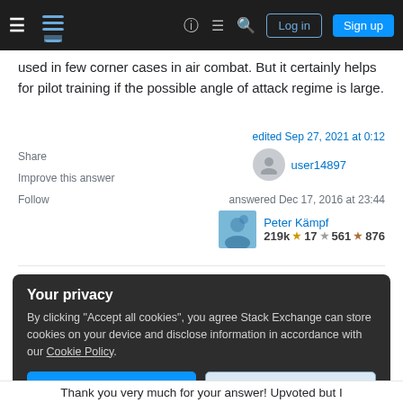Stack Exchange navigation bar with Log in and Sign up buttons
used in few corner cases in air combat. But it certainly helps for pilot training if the possible angle of attack regime is large.
Share
Improve this answer
Follow
edited Sep 27, 2021 at 0:12
user14897
answered Dec 17, 2016 at 23:44
Peter Kämpf
219k  17  561  876
Your privacy
By clicking "Accept all cookies", you agree Stack Exchange can store cookies on your device and disclose information in accordance with our Cookie Policy.
Accept all cookies  Customize settings
Thank you very much for your answer! Upvoted but I